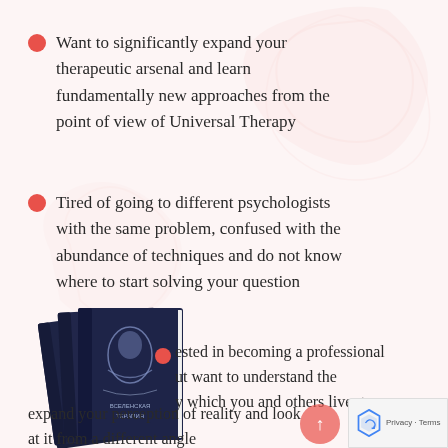Want to significantly expand your therapeutic arsenal and learn fundamentally new approaches from the point of view of Universal Therapy
Tired of going to different psychologists with the same problem, confused with the abundance of techniques and do not know where to start solving your question
...ested in becoming a professional ...ut want to understand the ...y which you and others live; to expand your perception of reality and look at it from a different angle
[Figure (photo): Stack of dark navy blue books with Cyrillic text on the cover reading 'ВСЕЛЕНСКАЯ ТЕРАПИЯ' (Universal Therapy)]